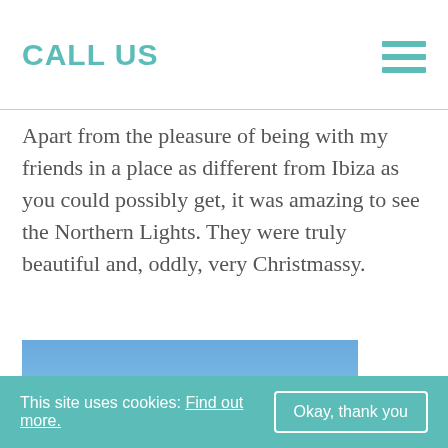CALL US
Apart from the pleasure of being with my friends in a place as different from Ibiza as you could possibly get, it was amazing to see the Northern Lights. They were truly beautiful and, oddly, very Christmassy.
[Figure (photo): Blue sky with a tree silhouette visible in the lower right corner]
This site uses cookies: Find out more.   Okay, thank you